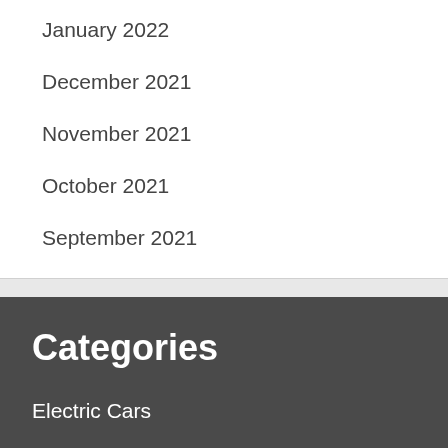January 2022
December 2021
November 2021
October 2021
September 2021
Categories
Electric Cars
Europe
Industry
Marketing